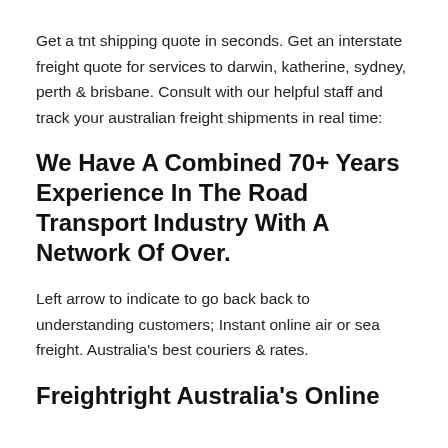Get a tnt shipping quote in seconds. Get an interstate freight quote for services to darwin, katherine, sydney, perth & brisbane. Consult with our helpful staff and track your australian freight shipments in real time:
We Have A Combined 70+ Years Experience In The Road Transport Industry With A Network Of Over.
Left arrow to indicate to go back back to understanding customers; Instant online air or sea freight. Australia's best couriers & rates.
Freightright Australia's Online